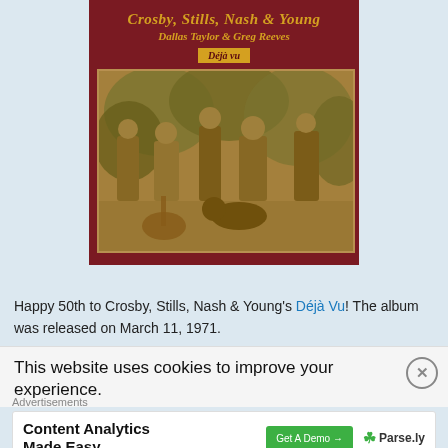[Figure (photo): Album cover of Déjà Vu by Crosby, Stills, Nash & Young featuring Dallas Taylor & Greg Reeves. Dark red/maroon background with gold decorative text and a sepia-toned vintage photograph of the band members with a dog.]
Happy 50th to Crosby, Stills, Nash & Young's Déjà Vu! The album was released on March 11, 1971.
This website uses cookies to improve your experience.
Advertisements
Content Analytics Made Easy